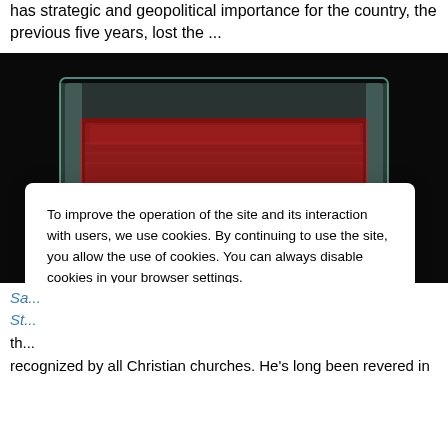has strategic and geopolitical importance for the country, the previous five years, lost the ...
[Figure (photo): A close-up image of what appears to be a relic or artifact displayed in a glass or crystal container with decorative lace-like borders, showing a dark red/crimson central section on a black background.]
To improve the operation of the site and its interaction with users, we use cookies. By continuing to use the site, you allow the use of cookies. You can always disable cookies in your browser settings.
Accept
Sa... St...
th...
recognized by all Christian churches. He's long been revered in